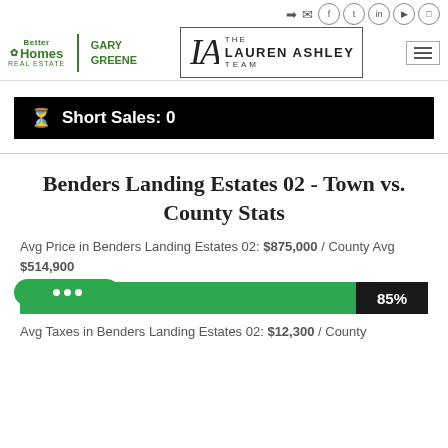[Figure (logo): Better Homes and Gardens Gary Greene real estate logo (green text)]
[Figure (logo): The Lauren Ashley Team logo in bordered box with LA monogram]
Short Sales: 0
Benders Landing Estates 02 - Town vs. County Stats
Avg Price in Benders Landing Estates 02: $875,000 / County Avg $514,900
[Figure (bar-chart): Horizontal progress bar showing 85%]
Avg Taxes in Benders Landing Estates 02: $12,300 / County